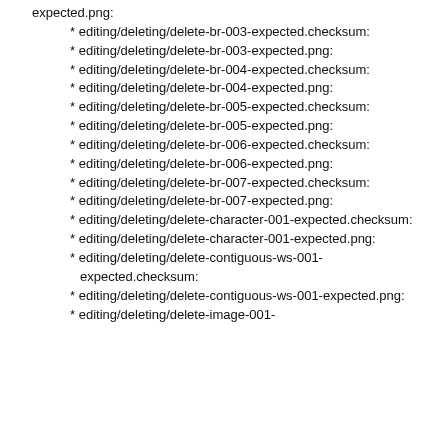expected.png:
* editing/deleting/delete-br-003-expected.checksum:
* editing/deleting/delete-br-003-expected.png:
* editing/deleting/delete-br-004-expected.checksum:
* editing/deleting/delete-br-004-expected.png:
* editing/deleting/delete-br-005-expected.checksum:
* editing/deleting/delete-br-005-expected.png:
* editing/deleting/delete-br-006-expected.checksum:
* editing/deleting/delete-br-006-expected.png:
* editing/deleting/delete-br-007-expected.checksum:
* editing/deleting/delete-br-007-expected.png:
* editing/deleting/delete-character-001-expected.checksum:
* editing/deleting/delete-character-001-expected.png:
* editing/deleting/delete-contiguous-ws-001-expected.checksum:
* editing/deleting/delete-contiguous-ws-001-expected.png:
* editing/deleting/delete-image-001-